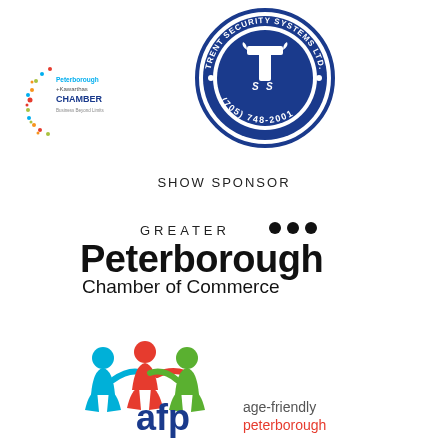[Figure (logo): Trent Security Systems Ltd. circular logo with blue border, stylized T letter in center, text reading TRENT SECURITY SYSTEMS LTD. and (705) 748-2001]
[Figure (logo): Peterborough + Kawarthas Chamber logo with colorful dot border and text]
SHOW SPONSOR
[Figure (logo): Greater Peterborough Chamber of Commerce logo with three black dots]
[Figure (logo): age-friendly peterborough (afp) logo with three colored human figures in cyan, red, and green]